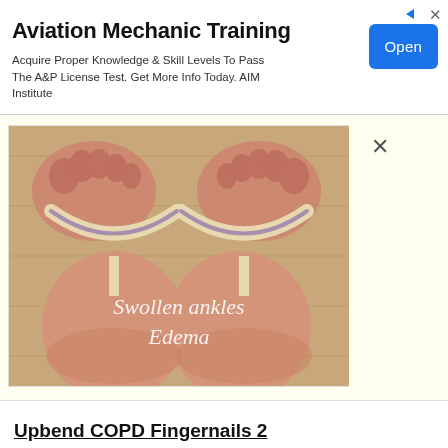[Figure (infographic): Ad banner: Aviation Mechanic Training with Open button]
Aviation Mechanic Training
Acquire Proper Knowledge & Skill Levels To Pass The A&P License Test. Get More Info Today. AIM Institute
[Figure (photo): Close-up photo of swollen feet/ankles wearing beige flip-flops on a wood floor. Text overlay reads 'Swollen ankles Edema']
Swollen ankles Edema
Upbend COPD Fingernails 2